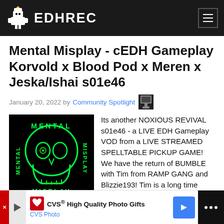EDHREC
Mental Misplay - cEDH Gameplay Korvold x Blood Pod x Meren x Jeska/Ishai s01e46
January 20, 2022 by Community Spotlight
[Figure (logo): Mental Misplay logo: green neon skull on black background]
Its another NOXIOUS REVIVAL s01e46 - a LIVE EDH Gameplay VOD from a LIVE STREAMED SPELLTABLE PICKUP GAME! We have the return of BUMBLE with Tim from RAMP GANG and Blizzie193! Tim is a long time friend and Blizzie and Bumble are a joy to play with. This is a cEDH game fea...
[Figure (infographic): CVS High Quality Photo Gifts advertisement banner with CVS Photo logo and blue arrow]